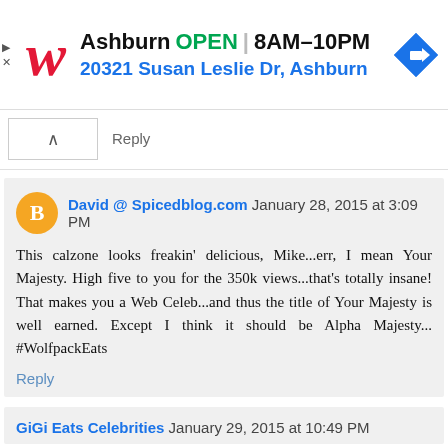[Figure (screenshot): Walgreens advertisement banner showing store location in Ashburn, open 8AM-10PM, address 20321 Susan Leslie Dr, Ashburn, with navigation icon]
Reply
David @ Spicedblog.com January 28, 2015 at 3:09 PM
This calzone looks freakin' delicious, Mike...err, I mean Your Majesty. High five to you for the 350k views...that's totally insane! That makes you a Web Celeb...and thus the title of Your Majesty is well earned. Except I think it should be Alpha Majesty... #WolfpackEats
Reply
GiGi Eats Celebrities January 29, 2015 at 10:49 PM